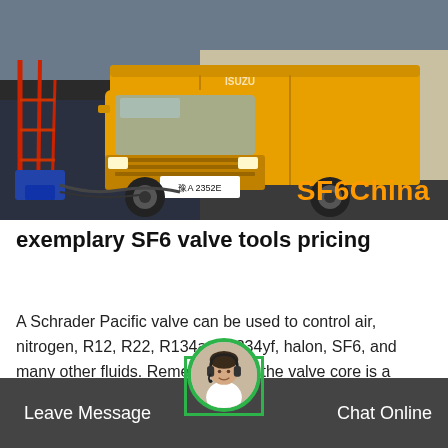[Figure (photo): Yellow Isuzu delivery truck parked at a loading dock/warehouse. The truck bears a license plate reading 豫A 2352E. The image has an orange 'SF6China' watermark in the bottom-right corner.]
exemplary SF6 valve tools pricing
A Schrader Pacific valve can be used to control air, nitrogen, R12, R22, R134a, R1234yf, halon, SF6, and many other fluids. Remember that the valve core is a mated pair working in collaboration with our high-side charge and low-side service p...
Leave Message   Chat Online